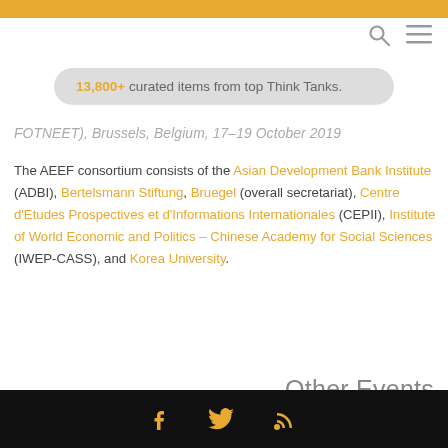13,800+ curated items from top Think Tanks.
FOTNEET), Brussels, Belgium, 17–19 October 2019
The AEEF consortium consists of the Asian Development Bank Institute (ADBI), Bertelsmann Stiftung, Bruegel (overall secretariat), Centre d'Etudes Prospectives et d'Informations Internationales (CEPII), Institute of World Economic and Politics – Chinese Academy for Social Sciences (IWEP-CASS), and Korea University.
Other Events